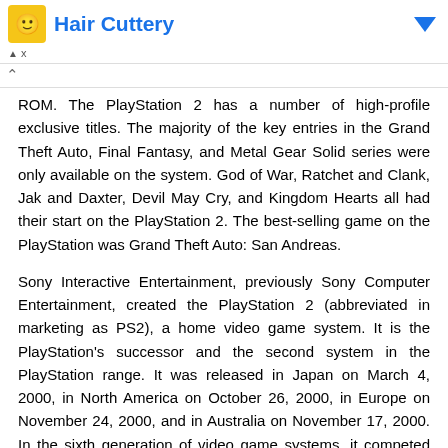[Figure (other): Advertisement banner for Hair Cuttery with logo and blue arrow icon]
ROM. The PlayStation 2 has a number of high-profile exclusive titles. The majority of the key entries in the Grand Theft Auto, Final Fantasy, and Metal Gear Solid series were only available on the system. God of War, Ratchet and Clank, Jak and Daxter, Devil May Cry, and Kingdom Hearts all had their start on the PlayStation 2. The best-selling game on the PlayStation was Grand Theft Auto: San Andreas.
Sony Interactive Entertainment, previously Sony Computer Entertainment, created the PlayStation 2 (abbreviated in marketing as PS2), a home video game system. It is the PlayStation's successor and the second system in the PlayStation range. It was released in Japan on March 4, 2000, in North America on October 26, 2000, in Europe on November 24, 2000, and in Australia on November 17, 2000. In the sixth generation of video game systems, it competed against Sega's Dreamcast, Microsoft's Xbox, and Nintendo's GameCube.